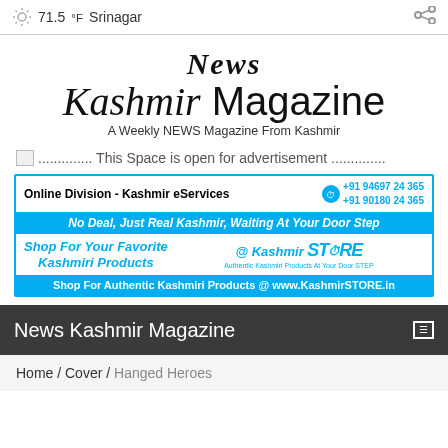71.5°F Srinagar
News Kashmir Magazine
A Weekly NEWS Magazine From Kashmir
.............. This Space is open for advertisement ..............
[Figure (infographic): Kashmir eServices advertisement banner with phone numbers +91 94697 24 365 and +91 90180 24 365, tagline 'No Deal, Just Real Kashmir, Waiting At Your Door Step', KashmirSTORE shopping promotion, website www.KashmirSTORE.in]
News Kashmir Magazine
Home / Cover / Hanged Heroes